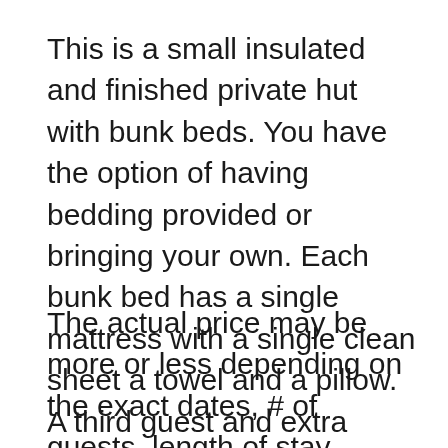This is a small insulated and finished private hut with bunk beds. You have the option of having bedding provided or bringing your own. Each bunk bed has a single mattress with a single clean sheet a towel and a pillow. A third guest and extra mattress are options.Check the boxes for an extra guest, extra mattress or having sheets and blankets when booking as appropriate.
The actual price may be more or less depending on the exact dates, # of guests, length of stay, weekday/weekend, whether you choose a refundable rate and whether any extra services or pet fees apply. If there are less people the price will be less. If there